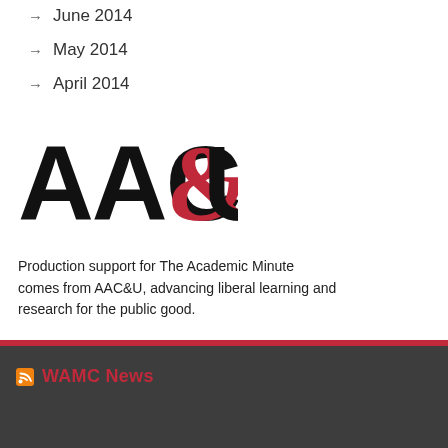June 2014
May 2014
April 2014
[Figure (logo): AAC&U logo — large bold black letters A, A, C with a red ampersand (&) and black U]
Production support for The Academic Minute comes from AAC&U, advancing liberal learning and research for the public good.
WAMC News